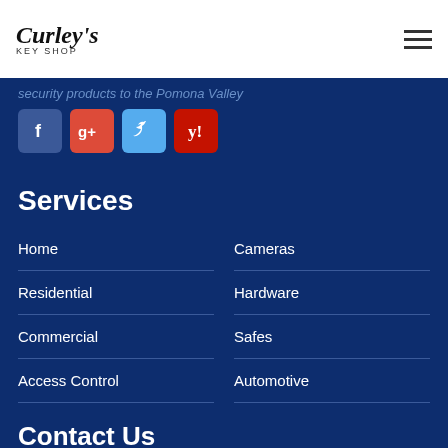[Figure (logo): Curley's Key Shop logo with cursive text and key icon]
security products to the Pomona Valley
[Figure (infographic): Social media icons: Facebook, Google+, Twitter, Yelp]
Services
Home
Cameras
Residential
Hardware
Commercial
Safes
Access Control
Automotive
Contact Us
306 E. Monterey Ave. Pomona, CA 91767